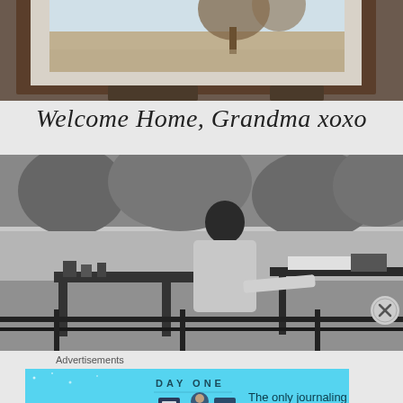[Figure (photo): Partial top view of a framed watercolor painting on an easel, showing a landscape scene with trees, mounted with a light mat inside a dark wood frame.]
Welcome Home, Grandma xoxo
[Figure (photo): Black and white vintage photograph of a person sitting outdoors near a lake, working at a table, with trees visible in the background.]
Advertisements
[Figure (screenshot): Day One app advertisement banner with cyan background. Shows 'DAY ONE' text with app icon illustrations and text 'The only journaling app you'll ever need.']